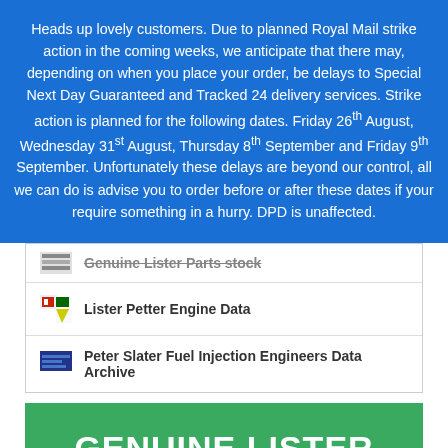Heads up lovely customers. Due to planned Royal Mail strike action in the coming weeks, we anticipate that there may, depending on when you place your order, be delays to Special Next Day Guaranteed and Tracked 24 delivery services. Strike action is planned for the following dates. Friday 26th August, Wednesday 31st August, Thursday 8th September and Friday 9th September. Unfortunately these delays are beyond our control, all we can do is advise you to order before or after these dates if your require something in a hurry. DPD is unaffected.
Genuine Lister Parts stock
Lister Petter Engine Data
Peter Slater Fuel Injection Engineers Data Archive
GENUINE LISTER PARTS
SEE FULL LIST